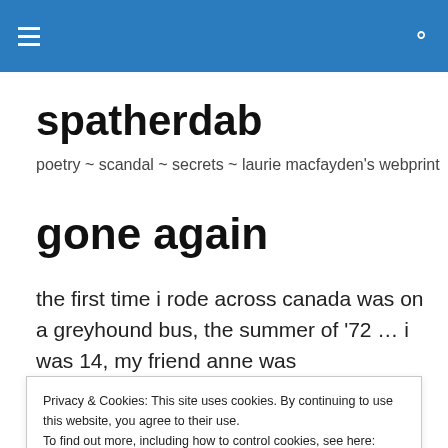spatherdab [navigation bar with hamburger menu and search icon]
spatherdab
poetry ~ scandal ~ secrets ~ laurie macfayden's webprint
gone again
the first time i rode across canada was on a greyhound bus, the summer of '72 … i was 14, my friend anne was
Privacy & Cookies: This site uses cookies. By continuing to use this website, you agree to their use.
To find out more, including how to control cookies, see here: Cookie Policy
western province, so we took advantage of their hospitality